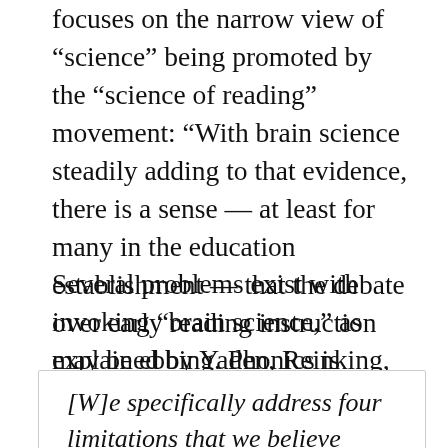focuses on the narrow view of “science” being promoted by the “science of reading” movement: “With brain science steadily adding to that evidence, there is a sense — at least for many in the education establishment — that the debate over early reading instruction may be ebbing. Phonics is ascendant.”
Several problems exist with invoking “brain science,” as explained by Yaden, Reinking, and Smagorinsky
[W]e specifically address four limitations that we believe raise questions about the